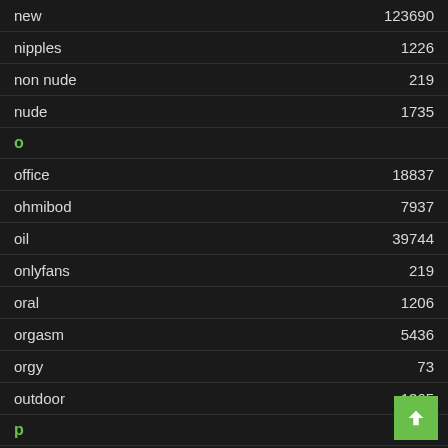new 123690
nipples 1226
non nude 219
nude 1735
O
office 18837
ohmibod 7937
oil 39744
onlyfans 219
oral 1206
orgasm 5436
orgy 73
outdoor 1365
P
panties